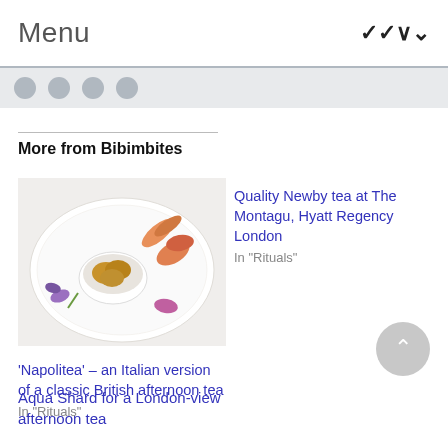Menu
More from Bibimbites
[Figure (photo): A white floral plate with a small white bowl containing golden-brown pastries/scones, garnished with colourful flowers and what appears to be charcuterie]
‘Napolitea’ – an Italian version of a classic British afternoon tea
In “Rituals”
Quality Newby tea at The Montagu, Hyatt Regency London
In “Rituals”
Aqua Shard for a London-view afternoon tea